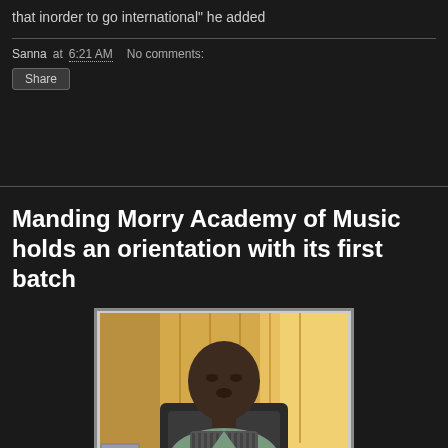that inorder to go international" he added
Sanna at 6:21 AM   No comments:
Share
Manding Morry Academy of Music holds an orientation with its first batch
[Figure (photo): Portrait photo of a man seated at a desk, wearing a striped vest over a light-colored shirt, with yellow curtains in the background]